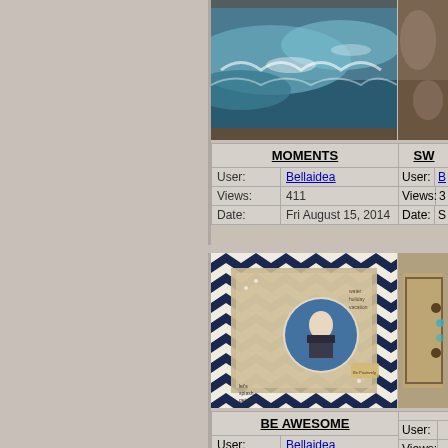[Figure (photo): Scrapbook image of ocean/water waves in blue-green tones, partially visible]
| MOMENTS |
| User: | Bellaidea |
| Views: | 411 |
| Date: | Fri August 15, 2014 |
[Figure (photo): Partially visible scrapbook image on far right, brown/earthy tones]
| SW... |
| User: | B... |
| Views: | 3... |
| Date: | S... |
[Figure (photo): Scrapbook page with navy blue chevron pattern background, circular photo of person in striped shirt, decorative elements, text water holiday vacation]
| BE AWESOME |
| User: | Bellaidea |
| Views: | 335 |
| Date: | Fri August 15, 2014 |
[Figure (photo): Partially visible scrapbook on far right, brown cabinet/furniture style]
| User: | ... |
| Views: |  |
| Date: |  |
[Figure (photo): Bottom partial scrapbook image, yellow/black diamond pattern visible]